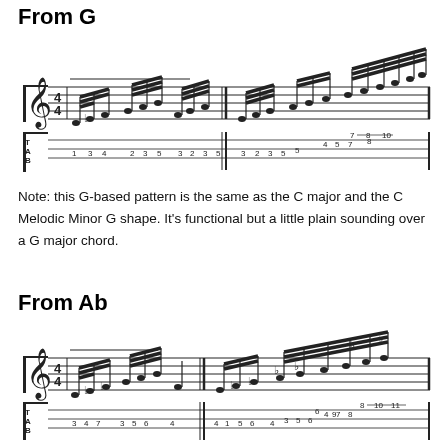From G
[Figure (illustration): Guitar tablature and standard notation showing a G-based scale pattern. Tab numbers: 1-3-4, 2-3-5, 3, 2-3-5, then 3, 2-3-5, 4-5-7, 7-8-10, 8, on various strings.]
Note: this G-based pattern is the same as the C major and the C Melodic Minor G shape. It’s functional but a little plain sounding over a G major chord.
From Ab
[Figure (illustration): Guitar tablature and standard notation showing an Ab-based scale pattern. Tab numbers: 3-4-7, 3-5-6, 4, 3-5-6, 4, 1-5-6, 6, 4-7-8, 8-10-11, on various strings.]